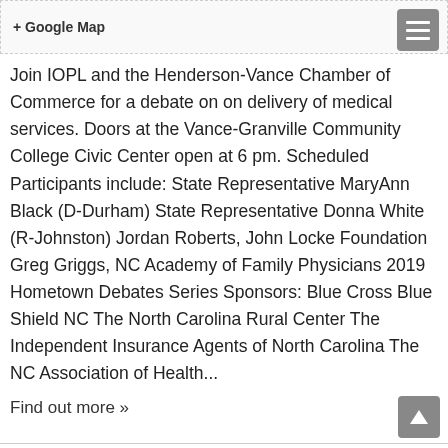+ Google Map
Join IOPL and the Henderson-Vance Chamber of Commerce for a debate on on delivery of medical services. Doors at the Vance-Granville Community College Civic Center open at 6 pm. Scheduled Participants include: State Representative MaryAnn Black (D-Durham) State Representative Donna White (R-Johnston) Jordan Roberts, John Locke Foundation Greg Griggs, NC Academy of Family Physicians 2019 Hometown Debates Series Sponsors: Blue Cross Blue Shield NC The North Carolina Rural Center The Independent Insurance Agents of North Carolina The NC Association of Health...
Find out more »